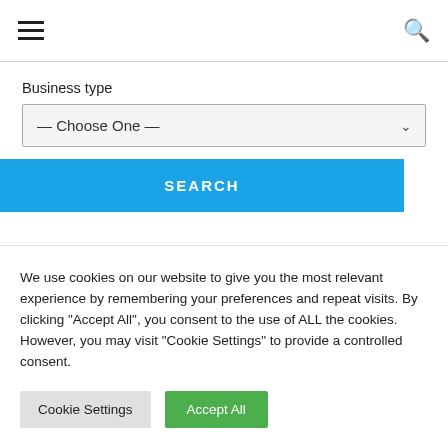Navigation bar with hamburger menu and search icon
Business type
— Choose One —
SEARCH
We use cookies on our website to give you the most relevant experience by remembering your preferences and repeat visits. By clicking "Accept All", you consent to the use of ALL the cookies. However, you may visit "Cookie Settings" to provide a controlled consent.
Cookie Settings
Accept All